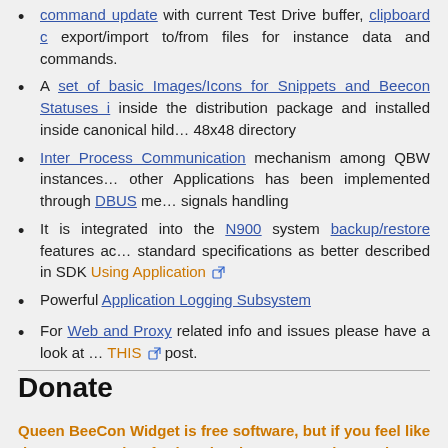command update with current Test Drive buffer, clipboard … export/import to/from files for instance data and commands.
A set of basic Images/Icons for Snippets and Beecon Statuses i… inside the distribution package and installed inside canonical hild… 48x48 directory
Inter Process Communication mechanism among QBW instances… other Applications has been implemented through DBUS me… signals handling
It is integrated into the N900 system backup/restore features ac… standard specifications as better described in SDK Using… Application [ext]
Powerful Application Logging Subsystem
For Web and Proxy related info and issues please have a look at … THIS [ext] post.
Donate
Queen BeeCon Widget is free software, but if you feel like don… supporting further developments or just to let me know that you l… can donate via Paypal [ext]